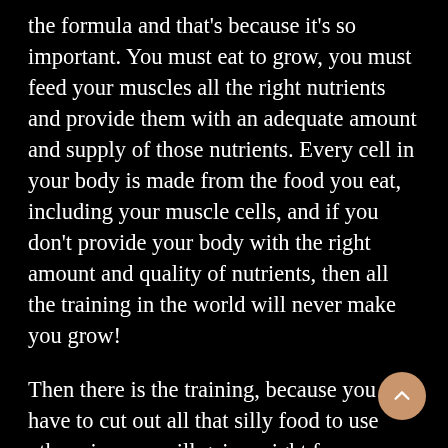the formula and that's because it's so important. You must eat to grow, you must feed your muscles all the right nutrients and provide them with an adequate amount and supply of those nutrients. Every cell in your body is made from the food you eat, including your muscle cells, and if you don't provide your body with the right amount and quality of nutrients, then all the training in the world will never make you grow!

Then there is the training, because you have to cut out all that silly food to use otherwise you will gain weight for sure, but it will all be fat. You must stimulate the muscles to grow through systematic, effective and progressive training